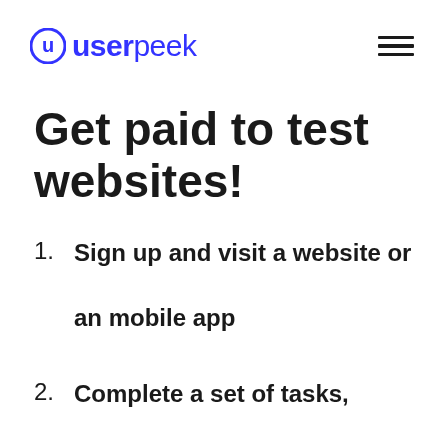userpeek
Get paid to test websites!
Sign up and visit a website or an mobile app
Complete a set of tasks,